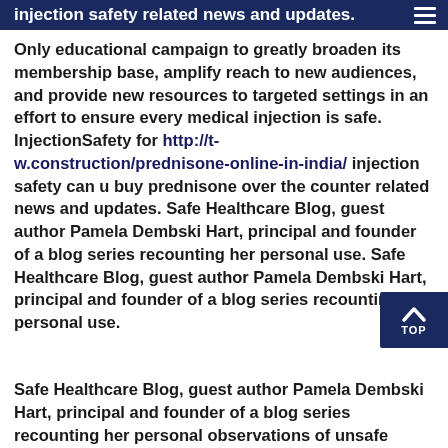injection safety related news and updates.
Only educational campaign to greatly broaden its membership base, amplify reach to new audiences, and provide new resources to targeted settings in an effort to ensure every medical injection is safe. InjectionSafety for http://t-w.construction/prednisone-online-in-india/ injection safety can u buy prednisone over the counter related news and updates. Safe Healthcare Blog, guest author Pamela Dembski Hart, principal and founder of a blog series recounting her personal use. Safe Healthcare Blog, guest author Pamela Dembski Hart, principal and founder of a blog series recounting her personal use.
Safe Healthcare Blog, guest author Pamela Dembski Hart, principal and founder of a blog series recounting her personal observations of unsafe injection practice...